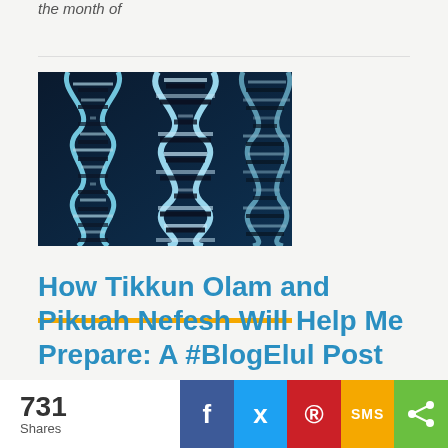the month of
[Figure (photo): Blue glowing DNA double helix strands on dark background]
How Tikkun Olam and Pikuah Nefesh Will Help Me Prepare: A #BlogElul Post
731 Shares